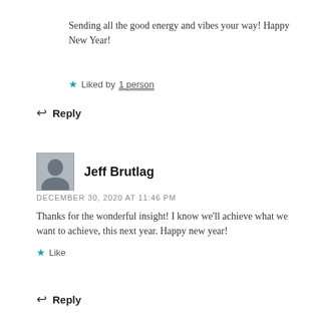Sending all the good energy and vibes your way! Happy New Year!
Liked by 1 person
Reply
Jeff Brutlag
DECEMBER 30, 2020 AT 11:46 PM
Thanks for the wonderful insight! I know we'll achieve what we want to achieve, this next year. Happy new year!
Like
Reply